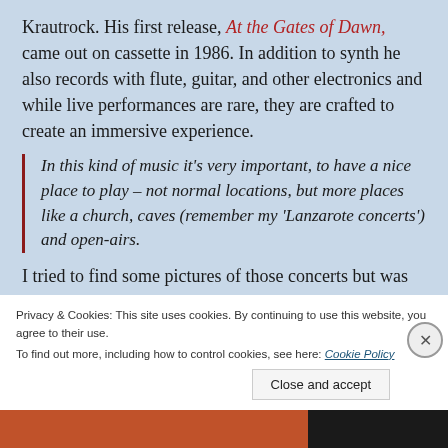Krautrock. His first release, At the Gates of Dawn, came out on cassette in 1986. In addition to synth he also records with flute, guitar, and other electronics and while live performances are rare, they are crafted to create an immersive experience.
In this kind of music it's very important, to have a nice place to play – not normal locations, but more places like a church, caves (remember my 'Lanzarote concerts') and open-airs.
I tried to find some pictures of those concerts but was
Privacy & Cookies: This site uses cookies. By continuing to use this website, you agree to their use. To find out more, including how to control cookies, see here: Cookie Policy
Close and accept